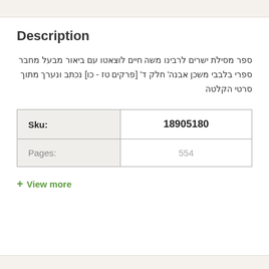Description
ספר מסילת ישרים לרבינו משה חיים לוצאטו עם ביאור מבעל מחבר ספרי בלבבי משכן אבנה' חלק ד' [פרקים טז - כו] נכתב ונערך מתוך סרטי הקלטה
| Sku: | 18905180 |
| --- | --- |
| Pages: | 554 |
+ View more